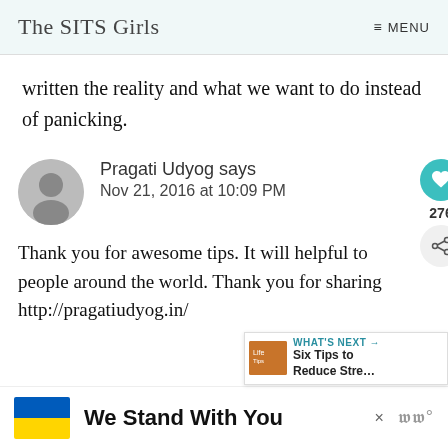The SITS Girls  ≡ MENU
written the reality and what we want to do instead of panicking.
Pragati Udyog says
Nov 21, 2016 at 10:09 PM
Thank you for awesome tips. It will helpful to people around the world. Thank you for sharing http://pragatiudyog.in/
[Figure (infographic): Ukraine flag (blue and yellow) with 'We Stand With You' banner and a close button and logo]
[Figure (infographic): WHAT'S NEXT arrow with thumbnail and text: Six Tips to Reduce Stre...]